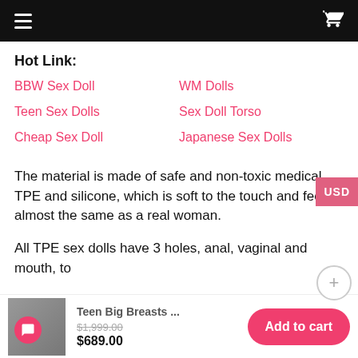Navigation bar with hamburger menu and cart icon
Hot Link:
BBW Sex Doll
WM Dolls
Teen Sex Dolls
Sex Doll Torso
Cheap Sex Doll
Japanese Sex Dolls
The material is made of safe and non-toxic medical TPE and silicone, which is soft to the touch and feels almost the same as a real woman.
All TPE sex dolls have 3 holes, anal, vaginal and mouth, to
[Figure (photo): Product thumbnail image of teen big breasts doll]
Teen Big Breasts ...
$1,999.00  $689.00
Add to cart